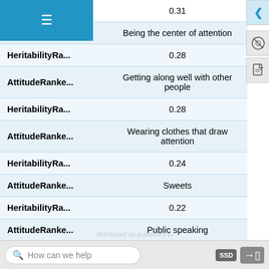| Field | Value |
| --- | --- |
| HeritabilityRa... | 0.31 |
| AttitudeRanke... | Being the center of attention |
| HeritabilityRa... | 0.28 |
| AttitudeRanke... | Getting along well with other people |
| HeritabilityRa... | 0.28 |
| AttitudeRanke... | Wearing clothes that draw attention |
| HeritabilityRa... | 0.24 |
| AttitudeRanke... | Sweets |
| HeritabilityRa... | 0.22 |
| AttitudeRanke... | Public speaking |
| HeritabilityRa... | 0.2 |
How can we help